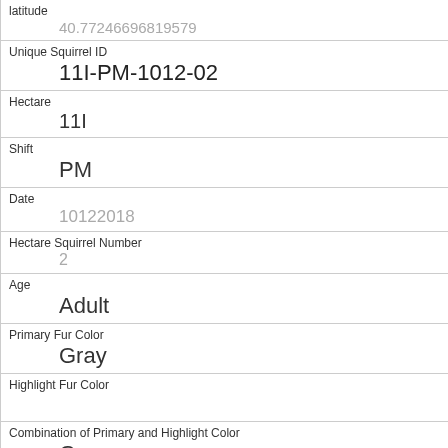| Field | Value |
| --- | --- |
| latitude | 40.77246696819579 |
| Unique Squirrel ID | 11I-PM-1012-02 |
| Hectare | 11I |
| Shift | PM |
| Date | 10122018 |
| Hectare Squirrel Number | 2 |
| Age | Adult |
| Primary Fur Color | Gray |
| Highlight Fur Color |  |
| Combination of Primary and Highlight Color | Gray+ |
| Color notes |  |